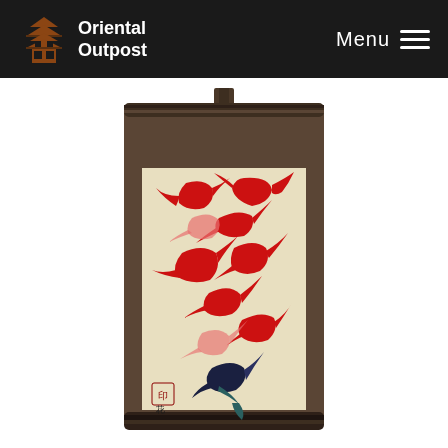Oriental Outpost | Menu
[Figure (illustration): A Japanese hanging scroll (kakejiku) mounted on dark brown silk fabric with wooden rollers at top and bottom. The scroll painting depicts nine stylized red koi fish swimming dynamically, with one dark navy/black koi at the bottom. The fish are painted in bold, flowing brushstrokes on a cream/beige background. A red seal and artist signature appear at the lower left of the painting.]